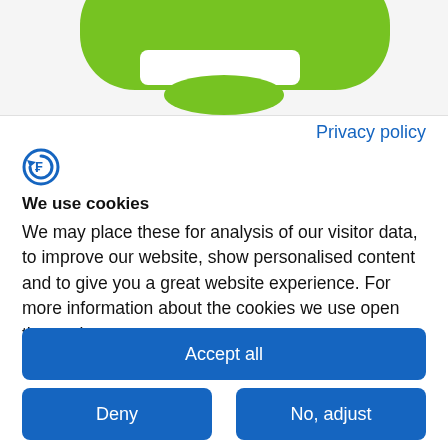[Figure (logo): Green rounded shape / logo mark partially visible at the top of the page]
Privacy policy
[Figure (logo): Small circular icon with letter C and arrow, blue outline]
We use cookies
We may place these for analysis of our visitor data, to improve our website, show personalised content and to give you a great website experience. For more information about the cookies we use open the settings.
Accept all
Deny
No, adjust